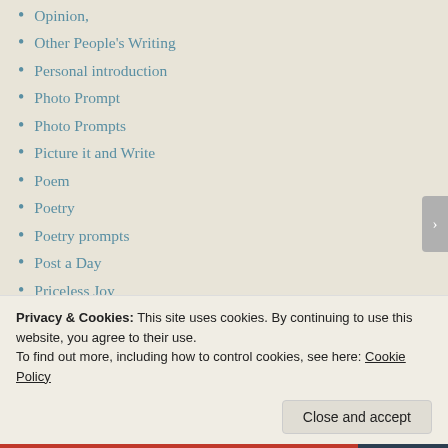Opinion,
Other People's Writing
Personal introduction
Photo Prompt
Photo Prompts
Picture it and Write
Poem
Poetry
Poetry prompts
Post a Day
Priceless Joy
Quintet Magazine
Rattling Bones
Reality
Reedsy Prompt
Review
Privacy & Cookies: This site uses cookies. By continuing to use this website, you agree to their use. To find out more, including how to control cookies, see here: Cookie Policy
Close and accept